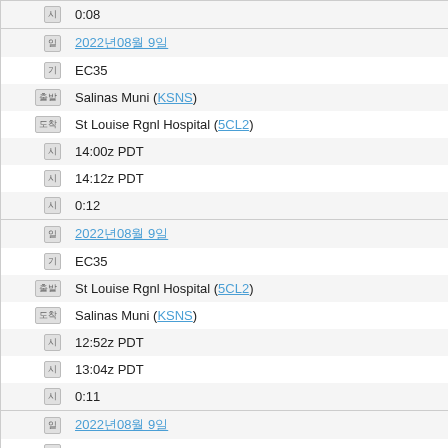|  | 0:08 |
|  | 2022년08월 9일 | EC35 | Salinas Muni (KSNS) | St Louise Rgnl Hospital (5CL2) | 14:00z PDT | 14:12z PDT | 0:12 |
|  | 2022년08월 9일 | EC35 | St Louise Rgnl Hospital (5CL2) | Salinas Muni (KSNS) | 12:52z PDT | 13:04z PDT | 0:11 |
|  | 2022년08월 9일 | EC35 | Sacramento McClellan (KMCC) | St Louise Rgnl Hospital (5CL2) | 08:52z PDT | 09:44z PDT |